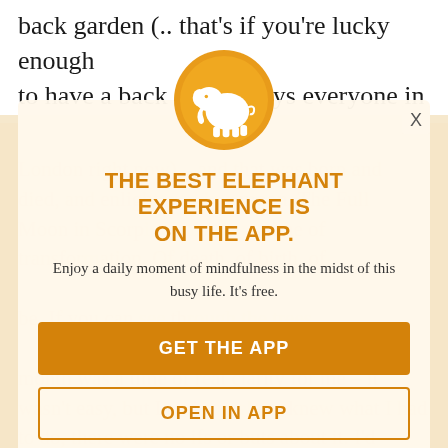back garden (.. that's if you're lucky enough to have a back garden says everyone in
London right now)... and that was born and died, and enlightened in a moon. The Full Moon in Scorpio. This was a time of transformation. Of death, of birth, of be. If you can see through the trees month was a time of real clarity for me – it wasn't easy, but I and somehow knew what I had to do, there were no ifs or buts about it. I'd say try why and but the without a
[Figure (logo): Orange circle with white elephant logo for the Elephant app]
THE BEST ELEPHANT EXPERIENCE IS ON THE APP.
Enjoy a daily moment of mindfulness in the midst of this busy life. It's free.
GET THE APP
OPEN IN APP